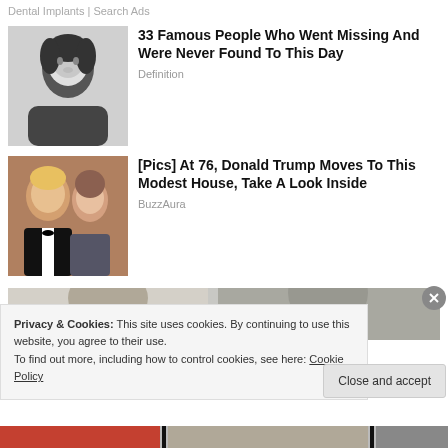Dental Implants | Search Ads
33 Famous People Who Went Missing And Were Never Found To This Day
Definition
[Pics] At 76, Donald Trump Moves To This Modest House, Take A Look Inside
BuzzAura
[Figure (photo): Black and white portrait photo of a young person with dark hair]
[Figure (photo): Color photo of Donald Trump and Melania Trump in formal attire]
[Figure (photo): Partial photo strip at bottom of page, partially obscured]
Privacy & Cookies: This site uses cookies. By continuing to use this website, you agree to their use.
To find out more, including how to control cookies, see here: Cookie Policy
Close and accept